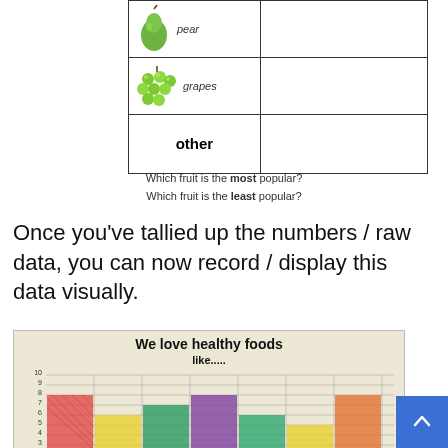| Fruit | Tally |
| --- | --- |
| pear |  |
| grapes |  |
| other |  |
Which fruit is the most popular?
Which fruit is the least popular?
Once you've tallied up the numbers / raw data, you can now record / display this data visually.
[Figure (photo): Hand-drawn bar chart on paper titled 'We love healthy foods like.....' showing coloured bars (red, yellow, green, purple, teal/green, yellow, orange) with y-axis numbered from approximately 3 to 10.]